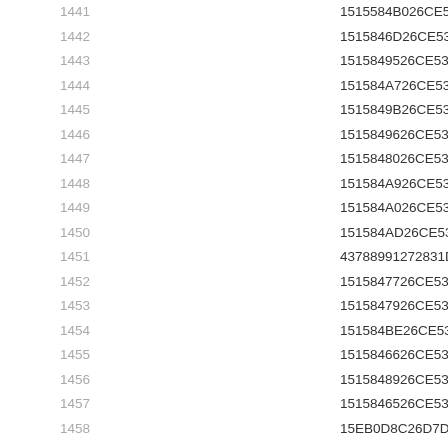| Index | Hash |
| --- | --- |
| 1441 | 1515584B026CE53456 |
| 1442 | 1515846D26CE53456 |
| 1443 | 1515849526CE53456 |
| 1444 | 151584A726CE53456 |
| 1445 | 1515849B26CE53456 |
| 1446 | 1515849626CE53456 |
| 1447 | 1515848026CE53456 |
| 1448 | 151584A926CE53456 |
| 1449 | 151584A026CE53456 |
| 1450 | 151584AD26CE53456 |
| 1451 | 43788991272831D26 |
| 1452 | 1515847726CE53456 |
| 1453 | 1515847926CE53456 |
| 1454 | 151584B626CE53456 |
| 1455 | 1515846626CE53456 |
| 1456 | 1515848926CE53456 |
| 1457 | 1515846526CE53456 |
| 1458 | 15EB0D8C26D7D1C56 |
| 1459 | 151584A426CE53456 |
| 1460 | 151584AF26CE53456 |
| 1461 | 1515847A26CE53456 |
| 1462 | 1515849F26CE53456 |
| 1463 | 1515847026CE53456 |